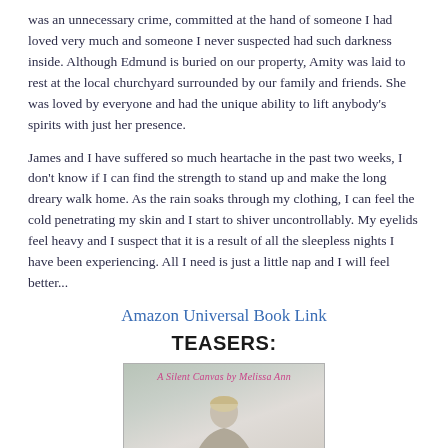was an unnecessary crime, committed at the hand of someone I had loved very much and someone I never suspected had such darkness inside. Although Edmund is buried on our property, Amity was laid to rest at the local churchyard surrounded by our family and friends. She was loved by everyone and had the unique ability to lift anybody's spirits with just her presence.

James and I have suffered so much heartache in the past two weeks, I don't know if I can find the strength to stand up and make the long dreary walk home. As the rain soaks through my clothing, I can feel the cold penetrating my skin and I start to shiver uncontrollably. My eyelids feel heavy and I suspect that it is a result of all the sleepless nights I have been experiencing. All I need is just a little nap and I will feel better...
Amazon Universal Book Link
TEASERS:
[Figure (illustration): Book cover teaser image for 'A Silent Canvas by Melissa Ann' showing a blonde figure in a winter/snowy scene with text overlay in pink cursive script.]